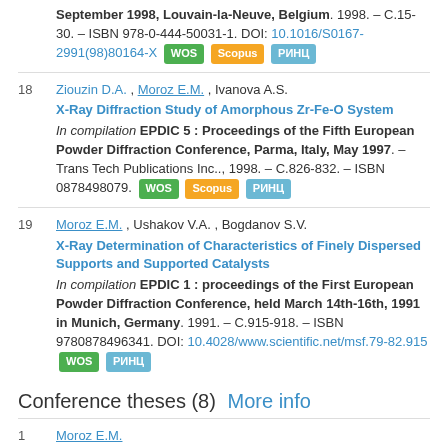September 1998, Louvain-la-Neuve, Belgium. 1998. – C.15-30. – ISBN 978-0-444-50031-1. DOI: 10.1016/S0167-2991(98)80164-X [WOS] [Scopus] [РИНЦ]
18. Ziouzin D.A., Moroz E.M., Ivanova A.S. X-Ray Diffraction Study of Amorphous Zr-Fe-O System. In compilation EPDIC 5 : Proceedings of the Fifth European Powder Diffraction Conference, Parma, Italy, May 1997. – Trans Tech Publications Inc.., 1998. – C.826-832. – ISBN 0878498079. [WOS] [Scopus] [РИНЦ]
19. Moroz E.M., Ushakov V.A., Bogdanov S.V. X-Ray Determination of Characteristics of Finely Dispersed Supports and Supported Catalysts. In compilation EPDIC 1 : proceedings of the First European Powder Diffraction Conference, held March 14th-16th, 1991 in Munich, Germany. 1991. – C.915-918. – ISBN 9780878496341. DOI: 10.4028/www.scientific.net/msf.79-82.915 [WOS] [РИНЦ]
Conference theses (8) More info
1. Moroz E.M.